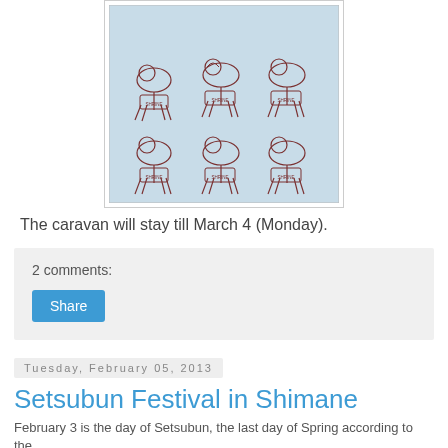[Figure (photo): Photo of a light blue tote bag or fabric item decorated with hand-drawn camel/animal figures carrying riders and labeled with small text, arranged in two rows of three.]
The caravan will stay till March 4 (Monday).
2 comments:
Share
Tuesday, February 05, 2013
Setsubun Festival in Shimane
February 3 is the day of Setsubun, the last day of Spring according to the...